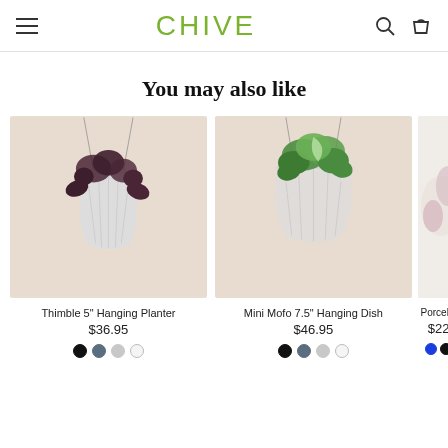CHIVE
You may also like
[Figure (photo): Thimble 5 inch Hanging Planter with dark purple plant in a white geometric textured pot, hanging by thin wires]
Thimble 5" Hanging Planter
$36.95
[Figure (photo): Mini Mofo 7.5 inch Hanging Dish with green tropical plant in a white geometric textured bowl, hanging by thin wires]
Mini Mofo 7.5" Hanging Dish
$46.95
[Figure (photo): Partial view of a third product (Porcelain) with white/pink flowers on the right edge]
Porcelai...
$22...